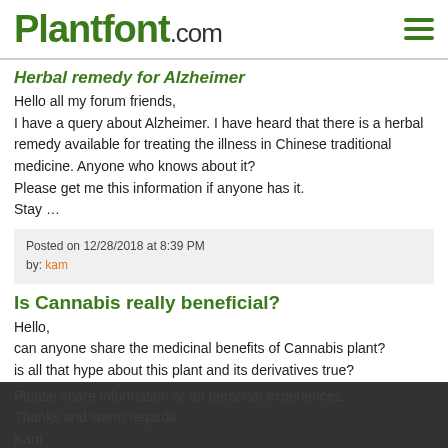Plantfont.com
Herbal remedy for Alzheimer
Hello all my forum friends,
I have a query about Alzheimer. I have heard that there is a herbal remedy available for treating the illness in Chinese traditional medicine. Anyone who knows about it?
Please get me this information if anyone has it.
Stay …
Posted on 12/28/2018 at 8:39 PM
by: kam
Is Cannabis really beneficial?
Hello,
can anyone share the medicinal benefits of Cannabis plant?
is all that hype about this plant and its derivatives true?
Please share information or an personal experiences.
Thanks and warm regards
Kam
Posted on 12/28/2018 at
by: kam
Re: November 2018 PlantFont Website Launch!
This is a great initiative to start this platform with the intent of sharing valuable information about the plants and their medicinal benefits. Wish you guys best of luck and th… an informational theme
Posted on 12/28/2018 at 8:23 PM
by: kam
This website uses cookies. We believe this ensures you get the best experience on our website. More info
I accept cookies from this site
Allow Cookies